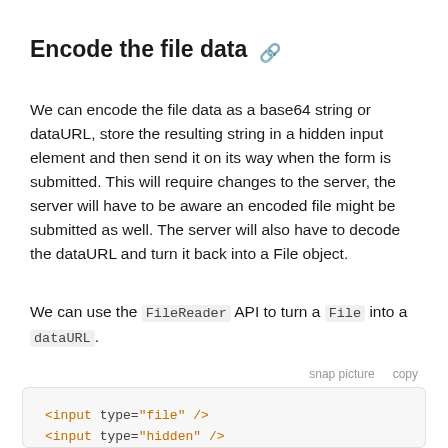Encode the file data
We can encode the file data as a base64 string or dataURL, store the resulting string in a hidden input element and then send it on its way when the form is submitted. This will require changes to the server, the server will have to be aware an encoded file might be submitted as well. The server will also have to decode the dataURL and turn it back into a File object.
We can use the FileReader API to turn a File into a dataURL.
[Figure (screenshot): Code block showing HTML: <input type="file" />, <input type="hidden" />, <script>, document.querySelector('[type="file"]')]